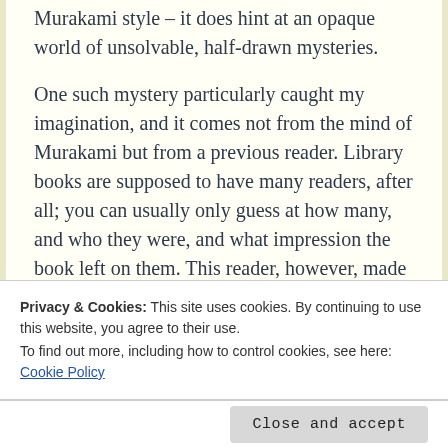Murakami style – it does hint at an opaque world of unsolvable, half-drawn mysteries.

One such mystery particularly caught my imagination, and it comes not from the mind of Murakami but from a previous reader. Library books are supposed to have many readers, after all; you can usually only guess at how many, and who they were, and what impression the book left on them. This reader, however, made three notes over the course of After Dark's 200-odd pages. Each is in the same black ballpoint pen.
Privacy & Cookies: This site uses cookies. By continuing to use this website, you agree to their use.
To find out more, including how to control cookies, see here: Cookie Policy
Close and accept